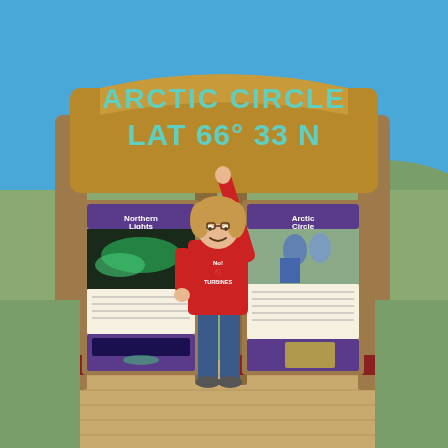[Figure (photo): A woman wearing a red t-shirt reading 'No TURBINES' and blue jeans stands in front of an Arctic Circle information sign/kiosk. The wooden sign at the top reads 'ARCTIC CIRCLE LAT 66° 33 N' in large teal/turquoise letters. The woman is smiling and raising her right arm up to touch the sign. Behind the kiosk are two informational display panels (one labeled 'Northern Lights', one labeled 'Arctic Circle'). The background shows open tundra/grassland, a hill, and a bright blue sky. The kiosk sits on a wooden deck platform.]